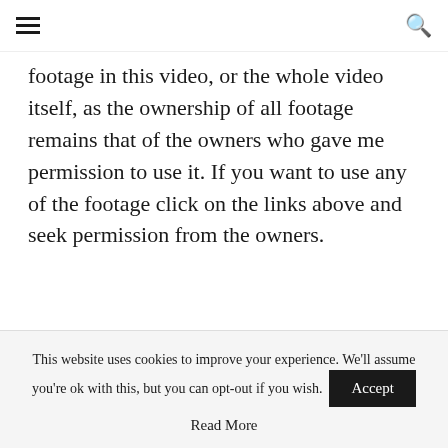≡  🔍
footage in this video, or the whole video itself, as the ownership of all footage remains that of the owners who gave me permission to use it. If you want to use any of the footage click on the links above and seek permission from the owners.
[Figure (other): A horizontal blue-grey bar element]
This website uses cookies to improve your experience. We'll assume you're ok with this, but you can opt-out if you wish. Accept
Read More